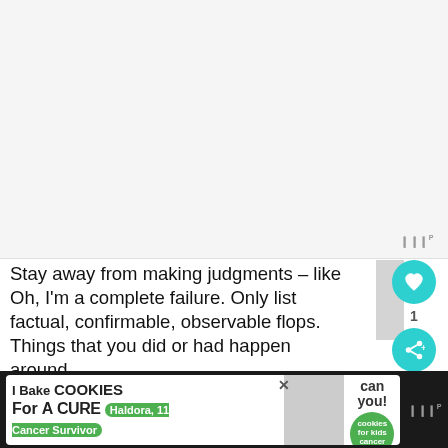[Figure (photo): Large blank/white image placeholder area at top of page]
Stay away from making judgments – like Oh, I'm a complete failure. Only list factual, confirmable, observable flops. Things that you did or had happen around
[Figure (screenshot): Bottom banner advertisement: I Bake COOKIES For A CURE - Haldora, 11 Cancer Survivor - So can you! - cookies for kids cancer logo. Dark background with WW logo.]